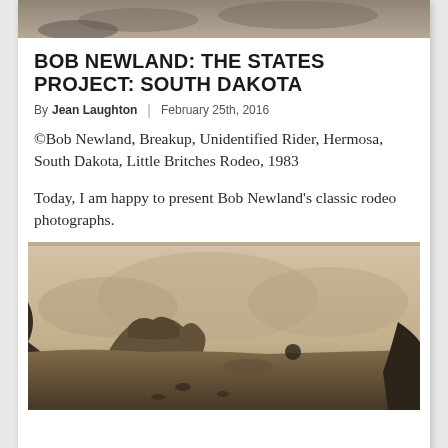[Figure (photo): Grayscale/sepia landscape photo at the top of the page, partially visible, appears to be an outdoor scene]
BOB NEWLAND: THE STATES PROJECT: SOUTH DAKOTA
By Jean Laughton | February 25th, 2016
©Bob Newland, Breakup, Unidentified Rider, Hermosa, South Dakota, Little Britches Rodeo, 1983
Today, I am happy to present Bob Newland's classic rodeo photographs.
[Figure (photo): Sepia-toned vintage photograph showing a hilly landscape with rock formations and misty mountains in the background]